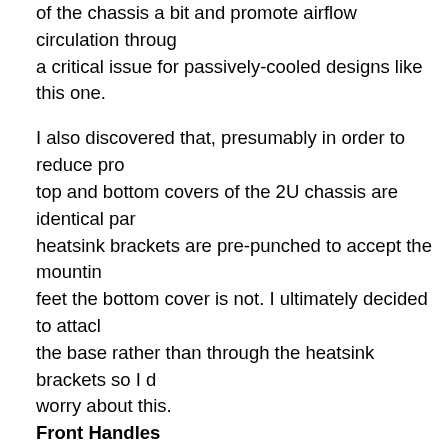higher than the Modestep feet and finish, that would raise of the chassis a bit and promote airflow circulation through, a critical issue for passively-cooled designs like this one.
I also discovered that, presumably in order to reduce pro, top and bottom covers of the 2U chassis are identical par, heatsink brackets are pre-punched to accept the mountin, feet the bottom cover is not. I ultimately decided to attach the base rather than through the heatsink brackets so I d, worry about this.
Front Handles
The optional front panel handles consist of a hollow thin a, the quality of the finish reasonable but the design is not w, tube sits freely between the plates and the only thing reta, should the plates not remain parallel to each other under, responsible for holding 40+ pounds need to be reliable. T, money because I couldn't build better pieces for less.
Incidentally, I discovered that the front panels are also no